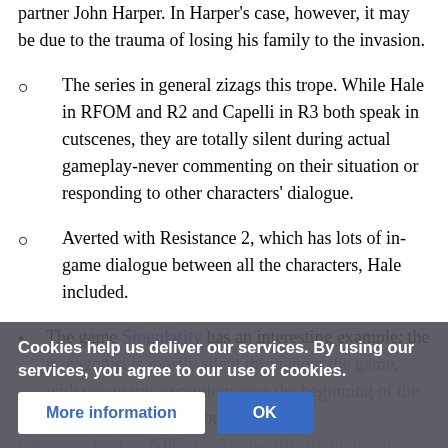partner John Harper. In Harper's case, however, it may be due to the trauma of losing his family to the invasion.
The series in general zizags this trope. While Hale in RFOM and R2 and Capelli in R3 both speak in cutscenes, they are totally silent during actual gameplay-never commenting on their situation or responding to other characters' dialogue.
Averted with Resistance 2, which has lots of in-game dialogue between all the characters, Hale included.
The game Singularity has an interesting example: the
Cookies help us deliver our services. By using our services, you agree to our use of cookies.
More information   OK